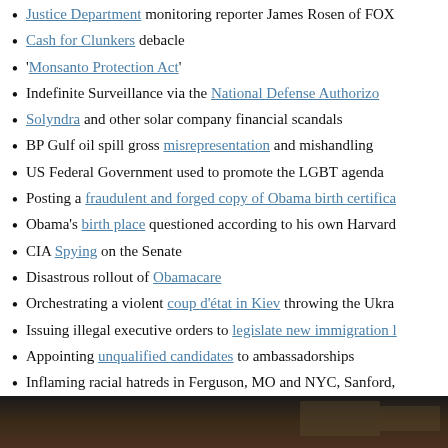Justice Department monitoring reporter James Rosen of FOX
Cash for Clunkers debacle
'Monsanto Protection Act'
Indefinite Surveillance via the National Defense Authorization
Solyndra and other solar company financial scandals
BP Gulf oil spill gross misrepresentation and mishandling
US Federal Government used to promote the LGBT agenda
Posting a fraudulent and forged copy of Obama birth certifica
Obama's birth place questioned according to his own Harvard
CIA Spying on the Senate
Disastrous rollout of Obamacare
Orchestrating a violent coup d'état in Kiev throwing the Ukra
Issuing illegal executive orders to legislate new immigration l
Appointing unqualified candidates to ambassadorships
Inflaming racial hatreds in Ferguson, MO and NYC, Sanford,
Race-bating whenever it serves the Administration's narrow p
Continuous attempts to incite a full-blown national race war
[Figure (photo): Dark photograph visible at bottom of page]